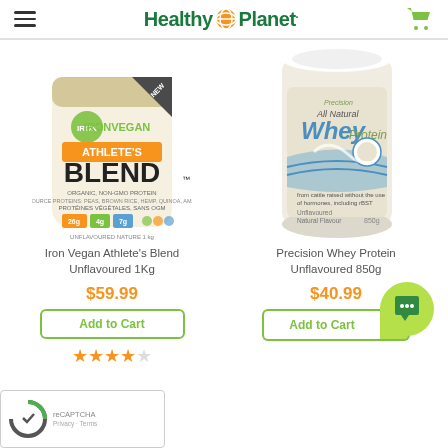Healthy Planet
[Figure (photo): Iron Vegan Athlete's Blend Unflavoured 1Kg product bag]
Iron Vegan Athlete's Blend Unflavoured 1Kg
$59.99
Add to Cart
[Figure (photo): Precision Whey Protein Unflavoured 850g container]
Precision Whey Protein Unflavoured 850g
$40.99
Add to Cart